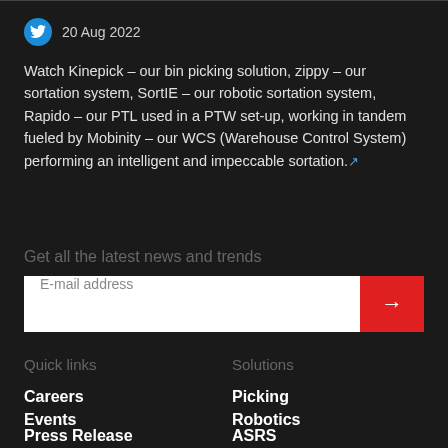20 Aug 2022
Watch Kinepick – our bin picking solution, zippy – our sortation system, SortIE – our robotic sortation system, Rapido – our PTL used in a PTW set-up, working in tandem fueled by Mobinity – our WCS (Warehouse Control System) performing an intelligent and impeccable sortation.
Get all the latest news and trends
[Figure (other): Email subscription input field with red submit arrow button]
Quick links
Solutions
Careers
Picking
Events
Robotics
Press Release
ASRS
Blogs
Software